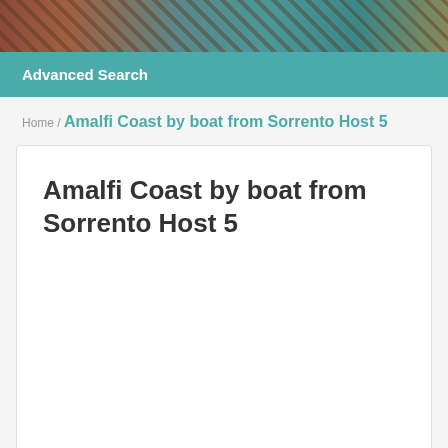[Figure (photo): Partial photo of a dining scene with red/teal colors at the top of the page]
Advanced Search
Home / Amalfi Coast by boat from Sorrento Host 5
Amalfi Coast by boat from Sorrento Host 5